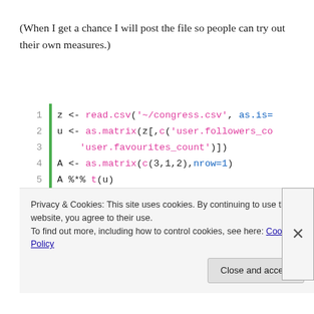(When I get a chance I will post the file so people can try out their own measures.)
[Figure (screenshot): R code block with line numbers 1-5 and green vertical bar. Code: z <- read.csv('~/congress.csv', as.is=...), u <- as.matrix(z[,c('user.followers_co... 'user.favourites_count')]), A <- as.matrix(c(3,1,2),nrow=1), A %*% t(u)]
Using this example as a starting point, what does it mean for A to have multiple rows? Additional rows are merely
Privacy & Cookies: This site uses cookies. By continuing to use this website, you agree to their use.
To find out more, including how to control cookies, see here: Cookie Policy
Close and accept